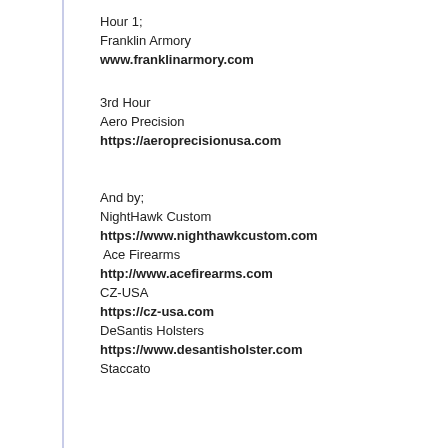Hour 1;
Franklin Armory
www.franklinarmory.com
3rd Hour
Aero Precision
https://aeroprecisionusa.com
And by;
NightHawk Custom
https://www.nighthawkcustom.com
Ace Firearms
http://www.acefirearms.com
CZ-USA
https://cz-usa.com
DeSantis Holsters
https://www.desantisholster.com
Staccato